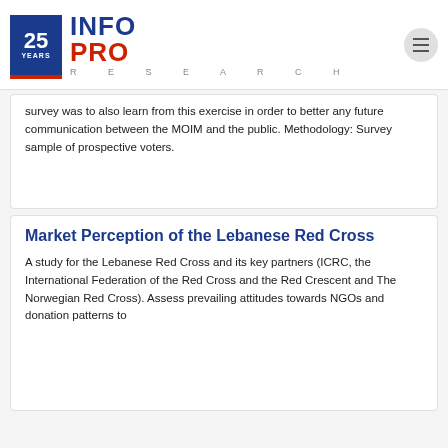INFOPRO RESEARCH
survey was to also learn from this exercise in order to better any future communication between the MOIM and the public. Methodology: Survey sample of prospective voters.
Market Perception of the Lebanese Red Cross
A study for the Lebanese Red Cross and its key partners (ICRC, the International Federation of the Red Cross and the Red Crescent and The Norwegian Red Cross). Assess prevailing attitudes towards NGOs and donation patterns to